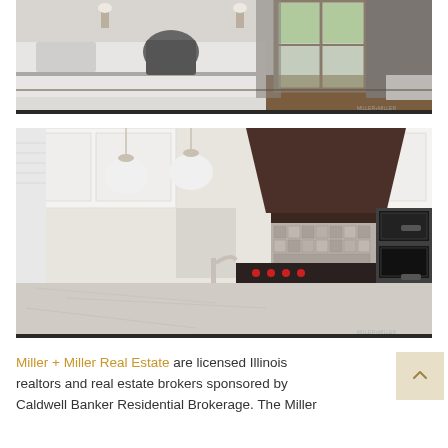[Figure (photo): Interior bedroom photo showing a made bed with pillows, wall sconces, and French doors opening to an outdoor patio/terrace. Curtains with geometric pattern visible. Watermark 'MILLER+MILLER' in bottom right corner.]
[Figure (photo): Interior kitchen photo showing a large kitchen island with granite countertop, pendant lights, dark wood range hood, white cabinetry, stainless steel appliances including ovens, and a professional range. Watermark 'MILLER+MILLER' in bottom right corner.]
Miller + Miller Real Estate are licensed Illinois realtors and real estate brokers sponsored by Coldwell Banker Residential Brokerage. The Miller